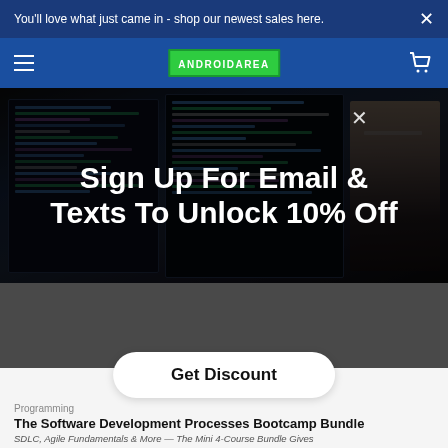You'll love what just came in - shop our newest sales here.
[Figure (screenshot): AndroidArea website navigation bar with hamburger menu, search icon, ANDROIDAREA logo in green, and cart icon on blue background]
[Figure (photo): Person sitting at desk working with multiple monitors displaying code]
Sign Up For Email & Texts To Unlock 10% Off
Get Discount
Programming
The Software Development Processes Bootcamp Bundle
SDLC, Agile Fundamentals & More — The Mini 4-Course Bundle Gives